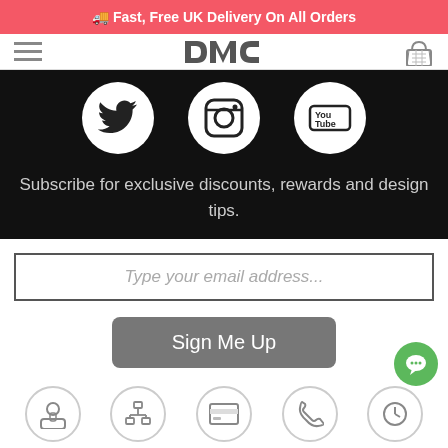🚚 Fast, Free UK Delivery On All Orders
[Figure (logo): DMC brand logo with hamburger menu and basket icon in navigation bar]
[Figure (infographic): Social media icons: Twitter, Instagram, YouTube on black background with subscribe text]
Subscribe for exclusive discounts, rewards and design tips.
Type your email address...
Sign Me Up
[Figure (infographic): Bottom row of circular icons representing various services/features, partially visible]